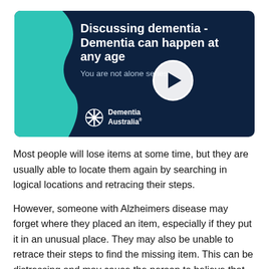[Figure (screenshot): Video thumbnail for 'Discussing dementia - Dementia can happen at any age' from the 'You are not alone series' by Dementia Australia. Dark navy background with teal wave on left, play button in center, white bold title text, and Dementia Australia logo at bottom left.]
Most people will lose items at some time, but they are usually able to locate them again by searching in logical locations and retracing their steps.
However, someone with Alzheimers disease may forget where they placed an item, especially if they put it in an unusual place. They may also be unable to retrace their steps to find the missing item. This can be distressing and may cause the person to believe that someone is stealing